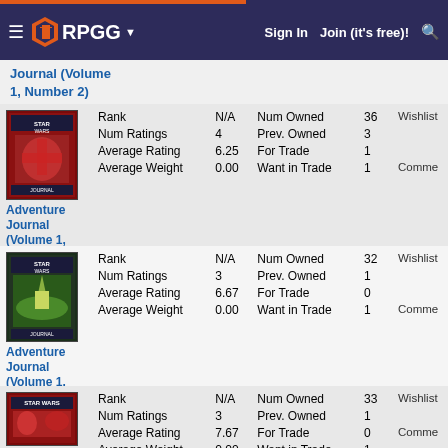RPGG — Sign In | Join (it's free)!
Journal (Volume 1, Number 2)
| Field | Value | Field | Value | Extra |
| --- | --- | --- | --- | --- |
| Rank | N/A | Num Owned | 36 | Wishlist |
| Num Ratings | 4 | Prev. Owned | 3 | Comments |
| Average Rating | 6.25 | For Trade | 1 |  |
| Average Weight | 0.00 | Want in Trade | 1 | Published |
Adventure Journal (Volume 1, Number 4)
| Field | Value | Field | Value | Extra |
| --- | --- | --- | --- | --- |
| Rank | N/A | Num Owned | 32 | Wishlist |
| Num Ratings | 3 | Prev. Owned | 1 | Comments |
| Average Rating | 6.67 | For Trade | 0 |  |
| Average Weight | 0.00 | Want in Trade | 1 | Published |
Adventure Journal (Volume 1, Number 7)
| Field | Value | Field | Value | Extra |
| --- | --- | --- | --- | --- |
| Rank | N/A | Num Owned | 33 | Wishlist |
| Num Ratings | 3 | Prev. Owned | 1 | Comments |
| Average Rating | 7.67 | For Trade | 0 |  |
| Average Weight | 0.00 | Want in Trade | 1 | Published |
Adventure Journal (Volume ...